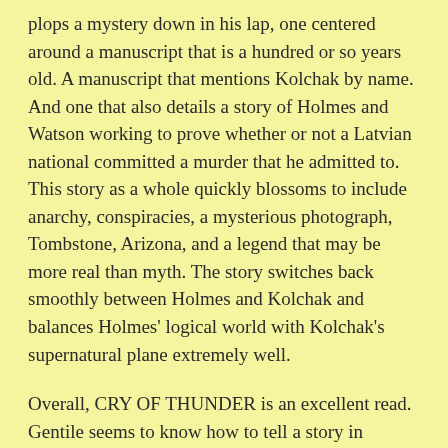plops a mystery down in his lap, one centered around a manuscript that is a hundred or so years old. A manuscript that mentions Kolchak by name. And one that also details a story of Holmes and Watson working to prove whether or not a Latvian national committed a murder that he admitted to. This story as a whole quickly blossoms to include anarchy, conspiracies, a mysterious photograph, Tombstone, Arizona, and a legend that may be more real than myth. The story switches back smoothly between Holmes and Kolchak and balances Holmes' logical world with Kolchak's supernatural plane extremely well.
Overall, CRY OF THUNDER is an excellent read. Gentile seems to know how to tell a story in tandem centering around two extremely strong characters and still maintain the integrity of each one. Kolchak brims with so much life that you can actually envision Darren McGavin in the panels. Gentile imbues him with a bit of an edge as well, making him a bit more boiled than usual and this only adds to the tale.